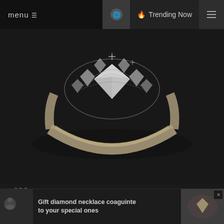menu  🔥 Trending Now
[Figure (photo): Close-up photo of a diamond ring with intricate settings, dark background]
ORE
Why you should choose diamond rings
Hong  📅 July 5, 2021
Gift diamond necklace coaguinte to your special ones